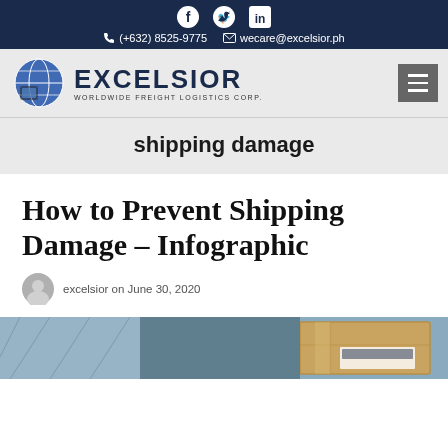Facebook Twitter LinkedIn | (+632) 8525-9775 | wecare@excelsior.ph
[Figure (logo): Excelsior Worldwide Freight Logistics Corp. logo with globe icon]
shipping damage
How to Prevent Shipping Damage – Infographic
excelsior on June 30, 2020
[Figure (photo): Bottom portion of a photo showing packages/shipping boxes]